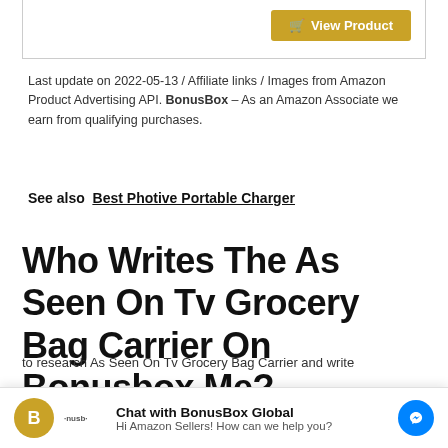[Figure (screenshot): Top portion of a product card box with a golden 'View Product' button in the top right corner]
Last update on 2022-05-13 / Affiliate links / Images from Amazon Product Advertising API. BonusBox – As an Amazon Associate we earn from qualifying purchases.
See also  Best Photive Portable Charger
Who Writes The As Seen On Tv Grocery Bag Carrier On Bonusbox.Me?
to research As Seen On Tv Grocery Bag Carrier and write
[Figure (screenshot): Chat widget with BonusBox Global branding — icon, title 'Chat with BonusBox Global', subtitle 'Hi Amazon Sellers! How can we help you?', and a blue Messenger icon on the right]